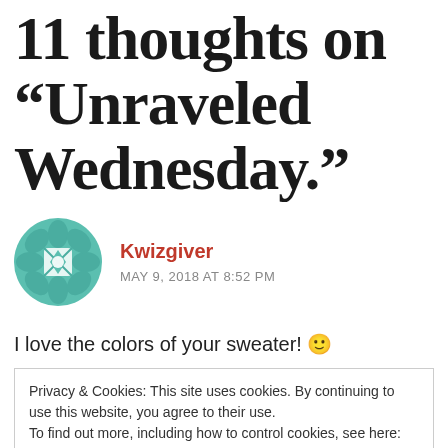11 thoughts on “Unraveled Wednesday.”
[Figure (logo): Teal/green quilt-pattern avatar icon for Kwizgiver]
Kwizgiver
MAY 9, 2018 AT 8:52 PM
I love the colors of your sweater! 🙂
Privacy & Cookies: This site uses cookies. By continuing to use this website, you agree to their use.
To find out more, including how to control cookies, see here: Cookie Policy